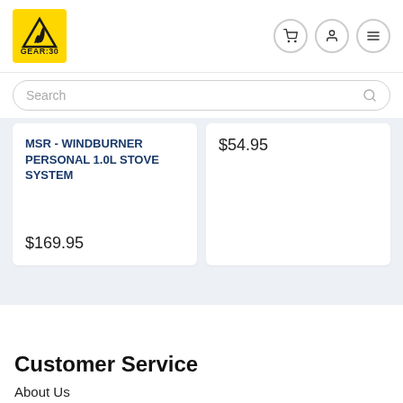[Figure (logo): GEAR:30 logo - yellow background with mountain/flame icon and GEAR:30 text below]
Search
MSR - WINDBURNER PERSONAL 1.0L STOVE SYSTEM
$169.95
$54.95
Customer Service
About Us